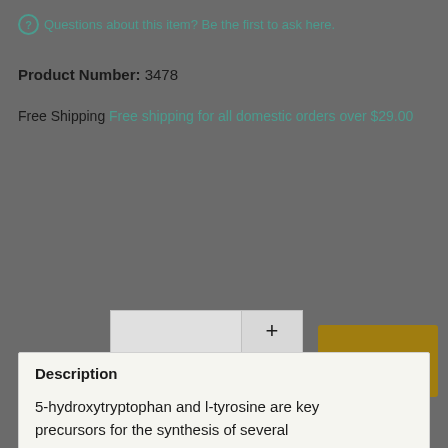Questions about this item? Be the first to ask here.
Product Number: 3478
Free Shipping Free shipping for all domestic orders over $29.00
Quantity 1 + - Add to Cart
Description
5-hydroxytryptophan and l-tyrosine are key precursors for the synthesis of several